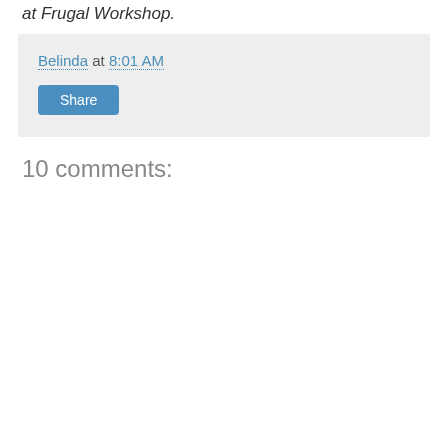at Frugal Workshop.
Belinda at 8:01 AM
Share
10 comments: